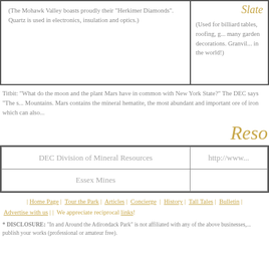Slate
(The Mohawk Valley boasts proudly their "Herkimer Diamonds". Quartz is used in electronics, insulation and optics.)
(Used for billiard tables, roofing, g... many garden decorations. Granvil... in the world!)
Titbit: "What do the moon and the plant Mars have in common with New York State?" The DEC says "The s... Mountains. Mars contains the mineral hematite, the most abundant and important ore of iron which can also...
Reso
| DEC Division of Mineral Resources | http://www... |
| --- | --- |
| Essex Mines |  |
| Home Page | Tour the Park | Articles | Concierge | History | Tall Tales | Bulletin | Advertise with us | | We appreciate reciprocal links!
* DISCLOSURE: "In and Around the Adirondack Park" is not affiliated with any of the above businesses... publish your works (professional or amateur free).